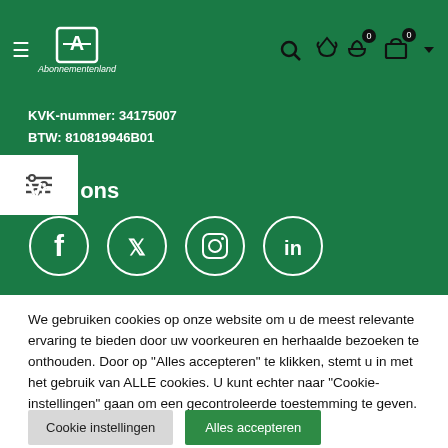[Figure (screenshot): Green header bar with hamburger menu, Abonnementenland logo, search icon, wishlist icon with badge 0, cart icon with badge 0, and dropdown arrow]
KVK-nummer: 34175007
BTW: 810819946B01
[Figure (other): White filter/settings icon box overlapping green section]
Volg ons
[Figure (other): Social media icons in white circles: Facebook, Twitter, Instagram, LinkedIn]
We gebruiken cookies op onze website om u de meest relevante ervaring te bieden door uw voorkeuren en herhaalde bezoeken te onthouden. Door op "Alles accepteren" te klikken, stemt u in met het gebruik van ALLE cookies. U kunt echter naar "Cookie-instellingen" gaan om een gecontroleerde toestemming te geven.
Cookie instellingen
Alles accepteren